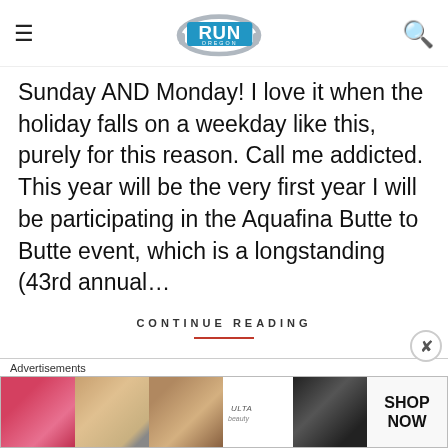Run Oregon — navigation header with logo
Sunday AND Monday! I love it when the holiday falls on a weekday like this, purely for this reason. Call me addicted. This year will be the very first year I will be participating in the Aquafina Butte to Butte event, which is a longstanding (43rd annual…
CONTINUE READING
[Figure (screenshot): Ulta Beauty advertisement banner with makeup imagery (lips, brush, eyes) and SHOP NOW call to action]